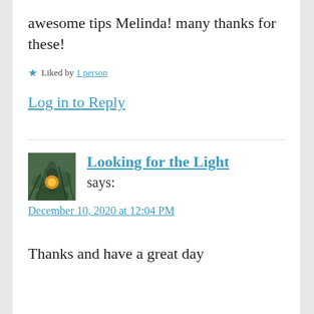awesome tips Melinda! many thanks for these!
★ Liked by 1 person
Log in to Reply
Looking for the Light says:
December 10, 2020 at 12:04 PM
Thanks and have a great day